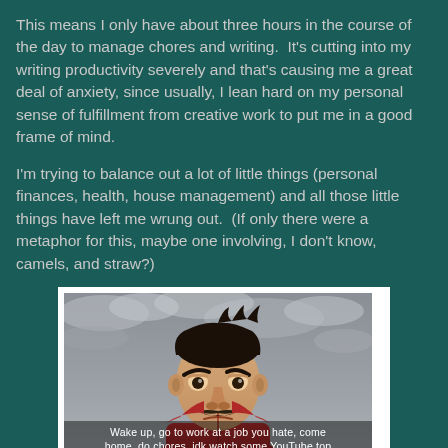This means I only have about three hours in the course of the day to manage chores and writing.  It's cutting into my writing productivity severely and that's causing me a great deal of anxiety, since usually, I lean hard on my personal sense of fulfillment from creative work to put me in a good frame of mind.
I'm trying to balance out a lot of little things (personal finances, health, house management) and all those little things have left me wrung out.  (If only there were a metaphor for this, maybe one involving, I don't know, camels, and straw?)
[Figure (illustration): Animated character (a muscular man with dark hair and mustache wearing a red suit) from the show Invincible, with subtitle text: 'Wake up, go to work at a job you hate, come home, do chores, idk watch some YouTube top tens or something, go to sleep, do it again']